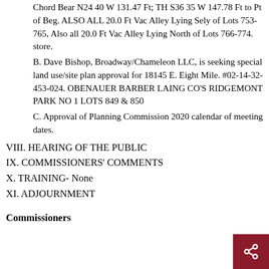Chord Bear N24 40 W 131.47 Ft; TH S36 35 W 147.78 Ft to Pt of Beg. ALSO ALL 20.0 Ft Vac Alley Lying Sely of Lots 753-765, Also all 20.0 Ft Vac Alley Lying North of Lots 766-774. store.
B. Dave Bishop, Broadway/Chameleon LLC, is seeking special land use/site plan approval for 18145 E. Eight Mile. #02-14-32-453-024. OBENAUER BARBER LAING CO'S RIDGEMONT PARK NO 1 LOTS 849 & 850
C. Approval of Planning Commission 2020 calendar of meeting dates.
VIII. HEARING OF THE PUBLIC
IX. COMMISSIONERS' COMMENTS
X. TRAINING- None
XI. ADJOURNMENT
Commissioners